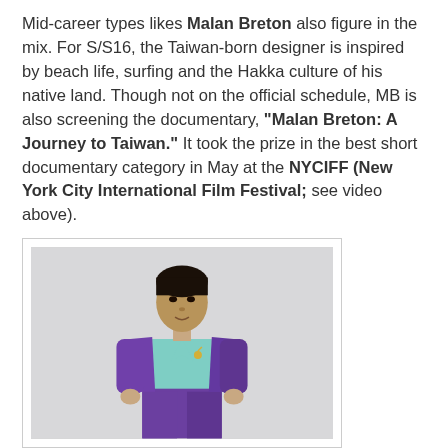Mid-career types likes Malan Breton also figure in the mix. For S/S16, the Taiwan-born designer is inspired by beach life, surfing and the Hakka culture of his native land. Though not on the official schedule, MB is also screening the documentary, "Malan Breton: A Journey to Taiwan." It took the prize in the best short documentary category in May at the NYCIFF (New York City International Film Festival; see video above).
[Figure (photo): A male model wearing a purple suit jacket and matching trousers with a light blue patterned shirt, standing against a light grey background.]